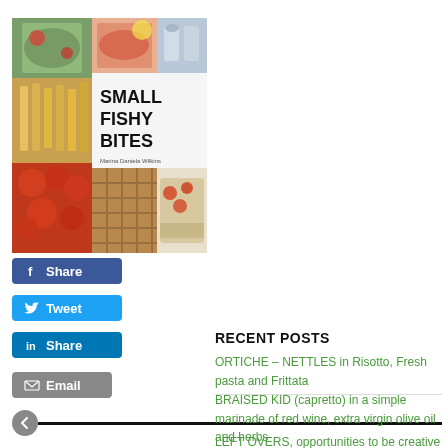[Figure (photo): Book cover for 'Small Fishy Bites' by Marina Daniela Wilkens, showing a collage of seafood dishes and appetizers]
[Figure (other): Facebook Share button (blue)]
[Figure (other): Twitter Tweet button (light blue)]
[Figure (other): LinkedIn Share button (dark blue)]
[Figure (other): Email button (grey)]
RECENT POSTS
ORTICHE – NETTLES in Risotto, Fresh pasta and Frittata
BRAISED KID (capretto) in a simple marinade of red wine, extra virgin olive oil and herbs
LEFT OVERS, opportunities to be creative